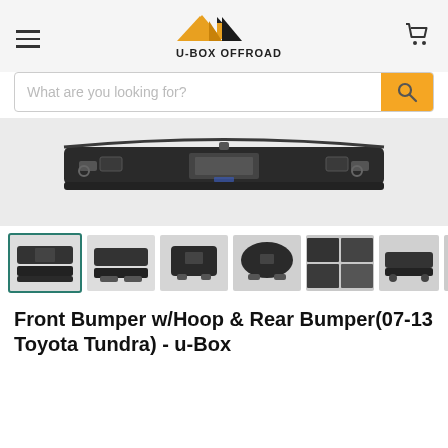[Figure (logo): U-BOX OFFROAD logo with yellow and black mountain/arrow icon and text]
[Figure (photo): Main product photo of a rear bumper for 07-13 Toyota Tundra, dark steel finish, shown from front/top angle with D-rings and license plate area]
[Figure (photo): Thumbnail gallery showing 8 different product views including front bumper with hoop and rear bumper]
Front Bumper w/Hoop & Rear Bumper(07-13 Toyota Tundra) - u-Box